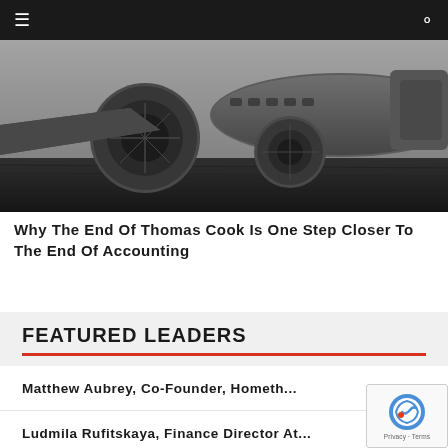≡  🔍
[Figure (photo): Black and white photograph of a crashed or wrecked aircraft on the ground, showing engines and fuselage up close.]
Why The End Of Thomas Cook Is One Step Closer To The End Of Accounting
FEATURED LEADERS
Matthew Aubrey, Co-Founder, Hometh…
Ludmila Rufitskaya, Finance Director At…